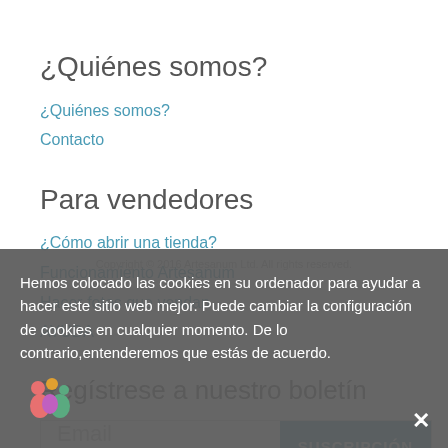¿Quiénes somos?
¿Quiénes somos?
Contacto
Para vendedores
¿Cómo abrir una tienda?
Funcionamiento Artesanum
Hacer fotos que vendan
AYUDA
Regístrese a nuestro boletín
Email
SUSCRIPCIÓN
Hemos colocado las cookies en su ordenador para ayudar a hacer este sitio web mejor. Puede cambiar la configuración de cookies en cualquier momento. De lo contrario,entenderemos que estás de acuerdo.